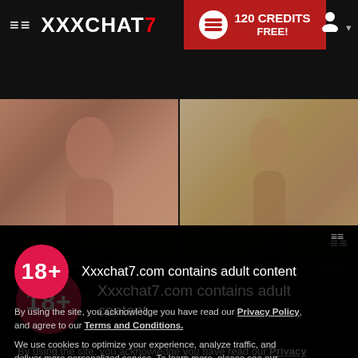XXXCHAT7  120 CREDITS FREE!
[Figure (screenshot): Two adult livestream thumbnails side by side. Left: 'Bellah Fiore - I am offline'. Right: 'Nichole Baybeh - I am offline'.]
Xxxchat7.com contains adult content
By using the site, you acknowledge you have read our Privacy Policy, and agree to our Terms and Conditions.
We use cookies to optimize your experience, analyze traffic, and deliver more personalized service. To learn more, please see our Privacy Policy.
I AGREE